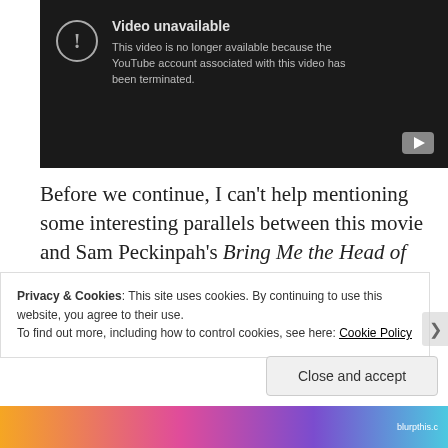[Figure (screenshot): YouTube embedded video player showing 'Video unavailable' error message: 'This video is no longer available because the YouTube account associated with this video has been terminated.' with a YouTube play button icon at the bottom right.]
Before we continue, I can't help mentioning some interesting parallels between this movie and Sam Peckinpah's Bring Me the Head of Alfredo Garcia, a film which ranks firmly in my all-time top ten.
Privacy & Cookies: This site uses cookies. By continuing to use this website, you agree to their use.
To find out more, including how to control cookies, see here: Cookie Policy
Close and accept